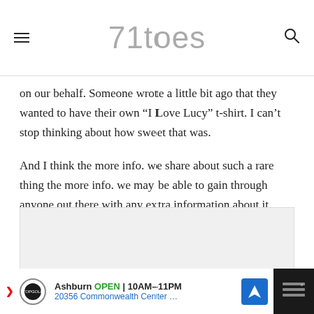71toes
on our behalf. Someone wrote a little bit ago that they wanted to have their own “I Love Lucy” t-shirt. I can’t stop thinking about how sweet that was.
And I think the more info. we share about such a rare thing the more info. we may be able to gain through anyone out there with any extra information about it.
[Figure (other): Grey rectangular placeholder area for an image or embedded content]
Ashburn OPEN 10AM–11PM 20356 Commonwealth Center … (advertisement for Topgolf)